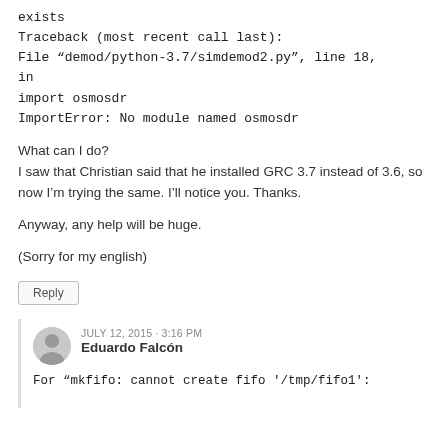exists
Traceback (most recent call last):
File “demod/python-3.7/simdemod2.py”, line 18, in
import osmosdr
ImportError: No module named osmosdr
What can I do?
I saw that Christian said that he installed GRC 3.7 instead of 3.6, so now I’m trying the same. I’ll notice you. Thanks.
Anyway, any help will be huge.
(Sorry for my english)
Reply
JULY 12, 2015 - 3:16 PM
Eduardo Falcón
For “mkfifo: cannot create fifo '/tmp/fifo1':